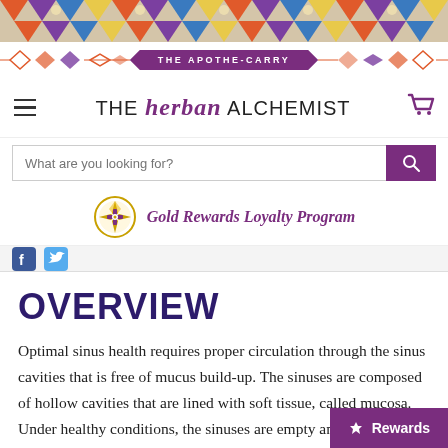[Figure (illustration): Decorative top banner with colorful geometric/floral pattern in orange, purple, blue, and gold]
THE APOTHE-CARRY
THE herban ALCHEMIST
What are you looking for?
Gold Rewards Loyalty Program
OVERVIEW
Optimal sinus health requires proper circulation through the sinus cavities that is free of mucus build-up. The sinuses are composed of hollow cavities that are lined with soft tissue, called mucosa. Under healthy conditions, the sinuses are empty and contain a thin layer of mucus. A